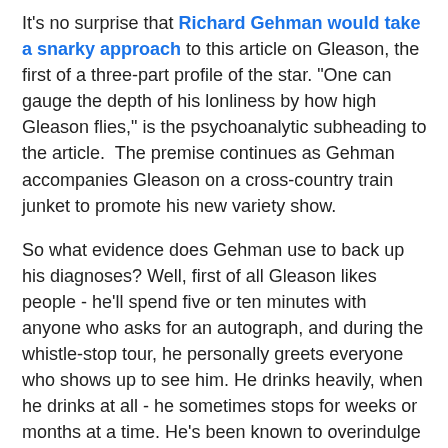It's no surprise that Richard Gehman would take a snarky approach to this article on Gleason, the first of a three-part profile of the star. "One can gauge the depth of his lonliness by how high Gleason flies," is the psychoanalytic subheading to the article.  The premise continues as Gehman accompanies Gleason on a cross-country train junket to promote his new variety show.
So what evidence does Gehman use to back up his diagnoses? Well, first of all Gleason likes people - he'll spend five or ten minutes with anyone who asks for an autograph, and during the whistle-stop tour, he personally greets everyone who shows up to see him. He drinks heavily, when he drinks at all - he sometimes stops for weeks or months at a time. He's been known to overindulge in the same way with food.  His explanation: "I'm thirsty and I'm hungry."
He loves to hold court for hours wherever he is. most frequently at Toots Shor's in New York. Writes Gehman, "his bombast conceals sensitivity and tenderness, and his leafily prodigal behavior is is rooted in a mulch of loneliness and